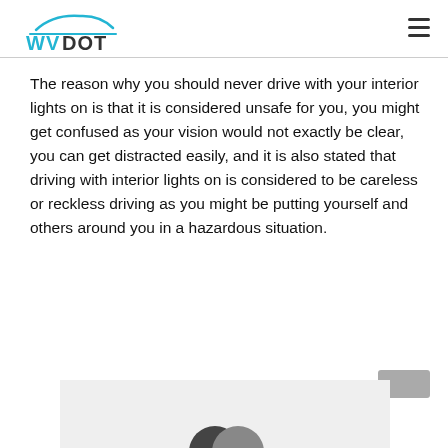WVDOT
The reason why you should never drive with your interior lights on is that it is considered unsafe for you, you might get confused as your vision would not exactly be clear, you can get distracted easily, and it is also stated that driving with interior lights on is considered to be careless or reckless driving as you might be putting yourself and others around you in a hazardous situation.
[Figure (other): Partial view of an image at the bottom of the page, showing a circular icon, content cut off]